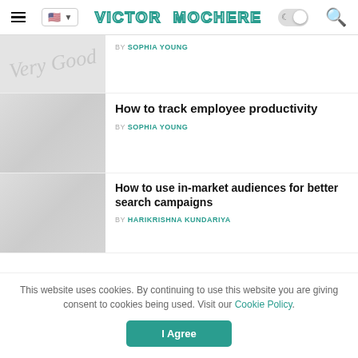VICTOR MOCHERE
[Figure (screenshot): Partial article thumbnail with faded text/image]
BY SOPHIA YOUNG
[Figure (photo): Article thumbnail with BUSINESS badge]
How to track employee productivity
BY SOPHIA YOUNG
[Figure (photo): Article thumbnail with BUSINESS badge]
How to use in-market audiences for better search campaigns
BY HARIKRISHNA KUNDARIYA
This website uses cookies. By continuing to use this website you are giving consent to cookies being used. Visit our Cookie Policy.